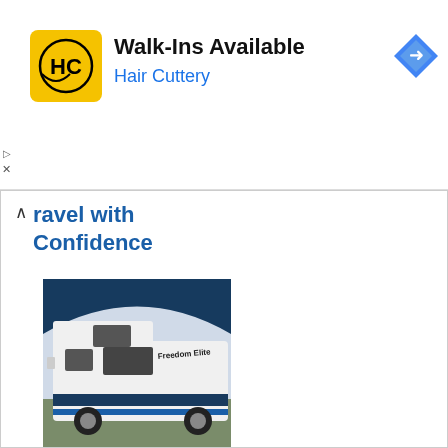[Figure (infographic): Hair Cuttery advertisement banner. Yellow square logo with HC letters, bold text 'Walk-Ins Available', blue text 'Hair Cuttery', blue diamond navigation icon on right. Play and close (X) controls on left side.]
Travel with Confidence
[Figure (photo): Partial view of a white RV/motorhome labeled 'Freedom Elite' with dark blue accent stripes, parked outdoors with green landscape in background. Top portion shows dark navy curved header band.]